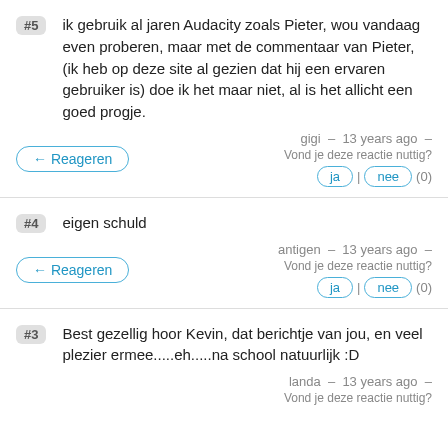#5 ik gebruik al jaren Audacity zoals Pieter, wou vandaag even proberen, maar met de commentaar van Pieter, (ik heb op deze site al gezien dat hij een ervaren gebruiker is) doe ik het maar niet, al is het allicht een goed progje.
gigi – 13 years ago – Vond je deze reactie nuttig? ja | nee (0)
#4 eigen schuld
antigen – 13 years ago – Vond je deze reactie nuttig? ja | nee (0)
#3 Best gezellig hoor Kevin, dat berichtje van jou, en veel plezier ermee.....eh.....na school natuurlijk :D
landa – 13 years ago – Vond je deze reactie nuttig?